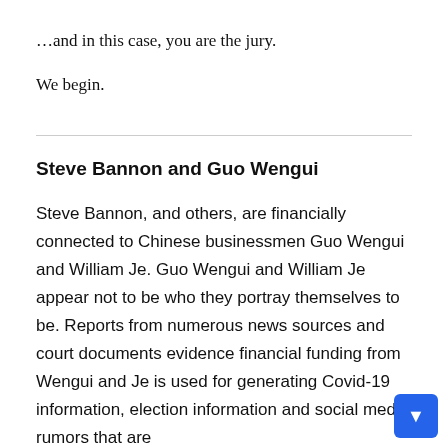…and in this case, you are the jury.
We begin.
Steve Bannon and Guo Wengui
Steve Bannon, and others, are financially connected to Chinese businessmen Guo Wengui and William Je. Guo Wengui and William Je appear not to be who they portray themselves to be. Reports from numerous news sources and court documents evidence financial funding from Wengui and Je is used for generating Covid-19 information, election information and social media rumors that are